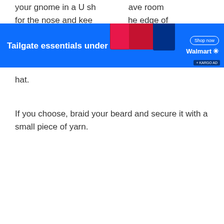your gnome in a U sh... ave room for the nose and kee... he edge of hat.
[Figure (infographic): Walmart Tailgate essentials under $10 advertisement banner with product images (Wet Ones, Traditional Crust pizza, Cauliflower Wings) and Shop Now button with Walmart logo and Kargo Ad badge]
hat.
If you choose, braid your beard and secure it with a small piece of yarn.